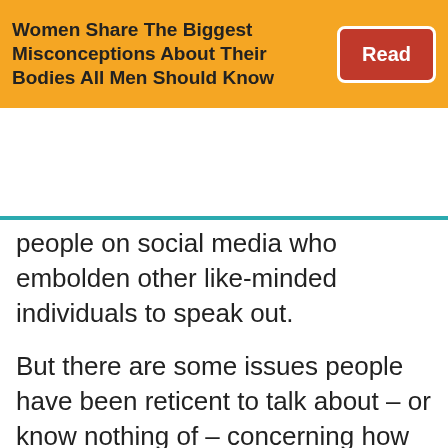[Figure (infographic): Yellow ad banner with text 'Women Share The Biggest Misconceptions About Their Bodies All Men Should Know' and a red 'Read' button]
[Figure (screenshot): George Takei website navigation bar with teal background, hamburger menu, cartoon George Takei avatar, red speech bubble logo reading GEORGE TAKEI .com, search icon, and Sign Up button]
people on social media who embolden other like-minded individuals to speak out.
But there are some issues people have been reticent to talk about – or know nothing of – concerning how the government somehow failed them.
Curious to hear what strangers on the internet thought, Redditor TheCosBee asked: